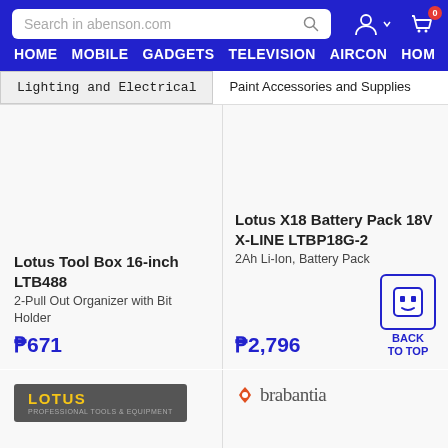Search in abenson.com | HOME | MOBILE | GADGETS | TELEVISION | AIRCON | HOM
Lighting and Electrical
Paint Accessories and Supplies
Lotus Tool Box 16-inch LTB488
2-Pull Out Organizer with Bit Holder
P671
Lotus X18 Battery Pack 18V X-LINE LTBP18G-2
2Ah Li-Ion, Battery Pack
P2,796
[Figure (logo): LOTUS brand logo on gray background]
[Figure (logo): brabantia brand logo in red/orange]